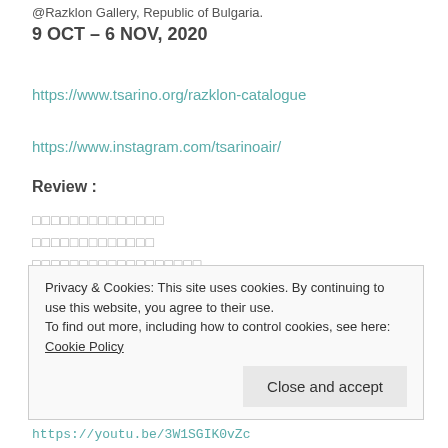@Razklon Gallery, Republic of Bulgaria.
9 OCT – 6 NOV, 2020
https://www.tsarino.org/razklon-catalogue
https://www.instagram.com/tsarinoair/
Review :
□□□□□□□□□□□□□□
□□□□□□□□□□□□□
□□□□□□□□□□□□□□□□□□
by Seiki Mori
Privacy & Cookies: This site uses cookies. By continuing to use this website, you agree to their use.
To find out more, including how to control cookies, see here: Cookie Policy
Close and accept
https://youtu.be/3W1SGIK0vZc